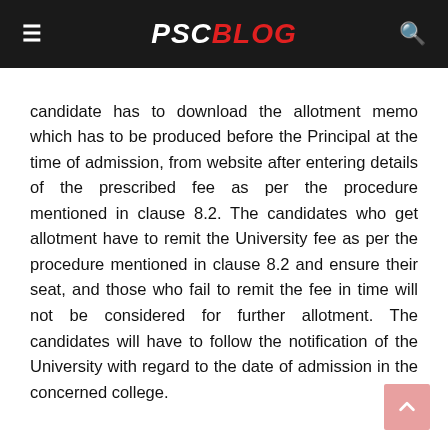PSC BLOG
candidate has to download the allotment memo which has to be produced before the Principal at the time of admission, from website after entering details of the prescribed fee as per the procedure mentioned in clause 8.2. The candidates who get allotment have to remit the University fee as per the procedure mentioned in clause 8.2 and ensure their seat, and those who fail to remit the fee in time will not be considered for further allotment. The candidates will have to follow the notification of the University with regard to the date of admission in the concerned college.